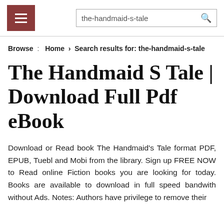☰  the-handmaid-s-tale 🔍
Browse :  Home > Search results for: the-handmaid-s-tale
The Handmaid S Tale | Download Full Pdf eBook
Download or Read book The Handmaid's Tale format PDF, EPUB, Tuebl and Mobi from the library. Sign up FREE NOW to Read online Fiction books you are looking for today. Books are available to download in full speed bandwith without Ads. Notes: Authors have privilege to remove their